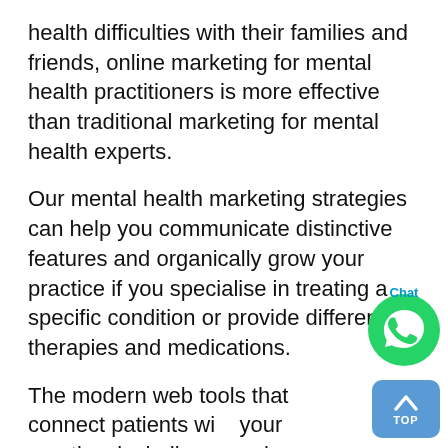health difficulties with their families and friends, online marketing for mental health practitioners is more effective than traditional marketing for mental health experts.
Our mental health marketing strategies can help you communicate distinctive features and organically grow your practice if you specialise in treating a specific condition or provide different therapies and medications.
The modern web tools that connect patients with your practice, including search engine optimization and focused blog posts, are just a few of the services we provide, working within your budget. We'll help you design a mental health marketing strategy tailored to your practice's specific needs.
[Figure (other): WhatsApp chat button (green circular icon with WhatsApp logo) with 'Chat' label below it, and a blue 'TOP' button with upward arrow below]